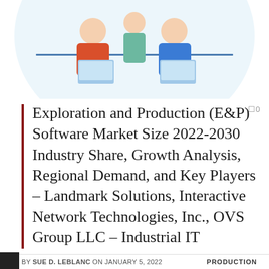[Figure (illustration): Top portion of a circular illustration showing two people working at laptops, with decorative dotted blue background, partially cropped at the top of the page.]
Exploration and Production (E&P) Software Market Size 2022-2030 Industry Share, Growth Analysis, Regional Demand, and Key Players – Landmark Solutions, Interactive Network Technologies, Inc., OVS Group LLC – Industrial IT
BY SUE D. LEBLANC ON JANUARY 5, 2022    PRODUCTION